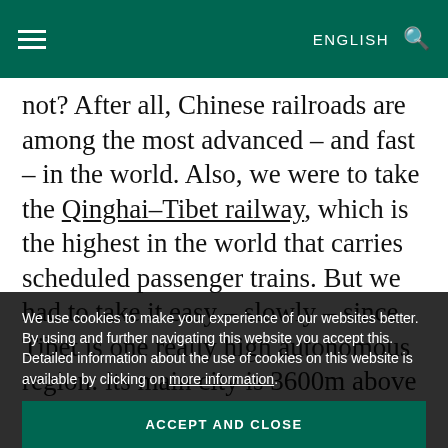≡   ENGLISH 🔍
not? After all, Chinese railroads are among the most advanced – and fast – in the world. Also, we were to take the Qinghai–Tibet railway, which is the highest in the world that carries scheduled passenger trains. But we had to take it easy – slowly – since Tibet is one really high autonomous region: its main city is 3600m above sea level, while much of the rest of the region's populated centers are about 4000 meters. Accordingly, we took it steady so as not to suffer from altitude sickness. Accordingly, the first day of our Tibetan was completely rail-based: hurray! Why hurray? You'll
We use cookies to make your experience of our websites better. By using and further navigating this website you accept this. Detailed information about the use of cookies on this website is available by clicking on more information.
ACCEPT AND CLOSE